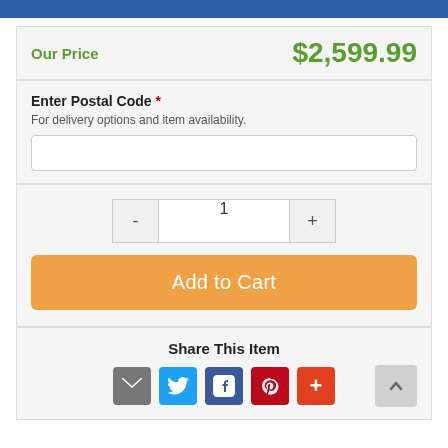Our Price  $2,599.99
Enter Postal Code * For delivery options and item availability.
1
Add to Cart
Share This Item